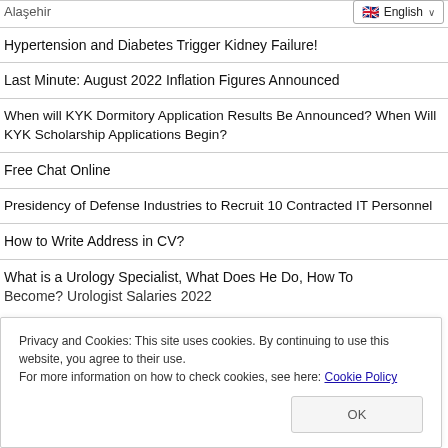Alaşehir
🇬🇧 English ∨
Hypertension and Diabetes Trigger Kidney Failure!
Last Minute: August 2022 Inflation Figures Announced
When will KYK Dormitory Application Results Be Announced? When Will KYK Scholarship Applications Begin?
Free Chat Online
Presidency of Defense Industries to Recruit 10 Contracted IT Personnel
How to Write Address in CV?
What is a Urology Specialist, What Does He Do, How To Become? Urologist Salaries 2022
Privacy and Cookies: This site uses cookies. By continuing to use this website, you agree to their use.
For more information on how to check cookies, see here: Cookie Policy
OK